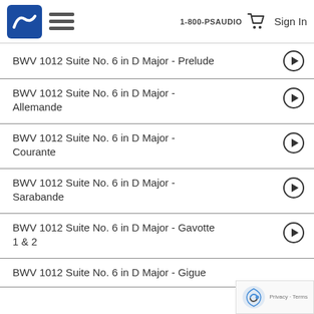1-800-PSAUDIO  Sign In
BWV 1012 Suite No. 6 in D Major - Prelude
BWV 1012 Suite No. 6 in D Major - Allemande
BWV 1012 Suite No. 6 in D Major - Courante
BWV 1012 Suite No. 6 in D Major - Sarabande
BWV 1012 Suite No. 6 in D Major - Gavotte 1 & 2
BWV 1012 Suite No. 6 in D Major - Gigue